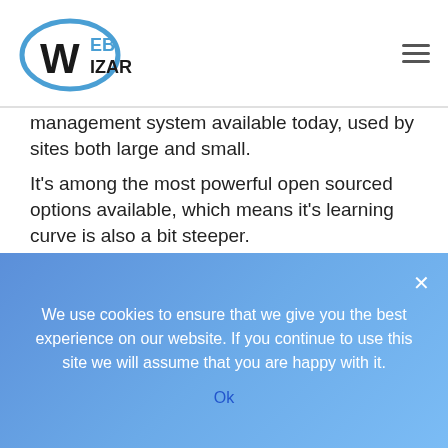Web Wizar logo and navigation
management system available today, used by sites both large and small.
It's among the most powerful open sourced options available, which means it's learning curve is also a bit steeper.
Here's where Drupal excels:
Technically Advanced – Drupal is the most technically advanced of these three content management systems. Good for technical people who like to get their hands dirty.
Improved Performance – Drupal pages typically
We use cookies to ensure that we give you the best experience on our website. If you continue to use this site we will assume that you are happy with it.